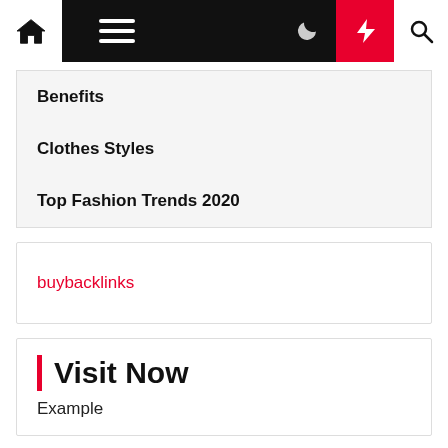Navigation bar with home, menu, moon, bolt, search icons
Benefits
Clothes Styles
Top Fashion Trends 2020
buybacklinks
Visit Now
Example